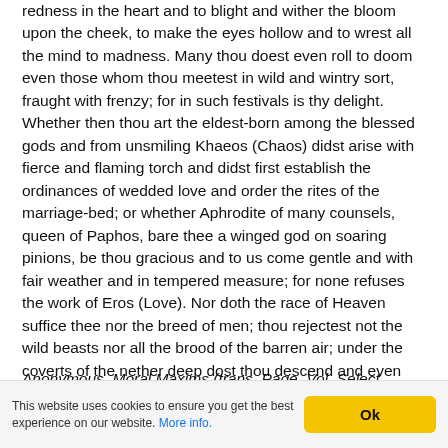redness in the heart and to blight and wither the bloom upon the cheek, to make the eyes hollow and to wrest all the mind to madness. Many thou doest even roll to doom even those whom thou meetest in wild and wintry sort, fraught with frenzy; for in such festivals is thy delight. Whether then thou art the eldest-born among the blessed gods and from unsmiling Khaeos (Chaos) didst arise with fierce and flaming torch and didst first establish the ordinances of wedded love and order the rites of the marriage-bed; or whether Aphrodite of many counsels, queen of Paphos, bare thee a winged god on soaring pinions, be thou gracious and to us come gentle and with fair weather and in tempered measure; for none refuses the work of Eros (Love). Nor doth the race of Heaven suffice thee nor the breed of men; thou rejectest not the wild beasts nor all the brood of the barren air; under the coverts of the nether deep dost thou descend and even among the finny tribes thou dost array thy darkling shafts; that naught may be left ignorant of thy compelling power, not even the fish that swims beneath the waters."
Anonymous, Moral Maxims (trans. Page, Vol. Select Papyri III, No. 116) (Greek elegiac C4th A.D.) :